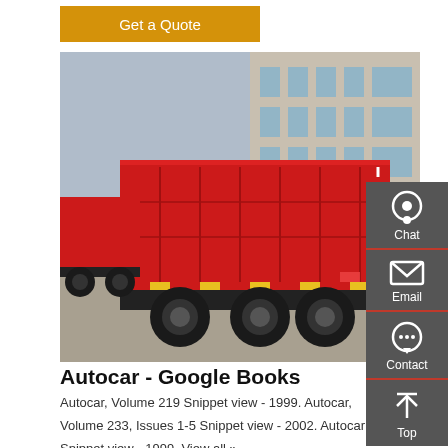Get a Quote
[Figure (photo): Red dump truck parked in a lot with a building in the background, viewed from the rear-side angle.]
Autocar - Google Books
Autocar, Volume 219 Snippet view - 1999. Autocar, Volume 233, Issues 1-5 Snippet view - 2002. Autocar Snippet view - 1999. View all »